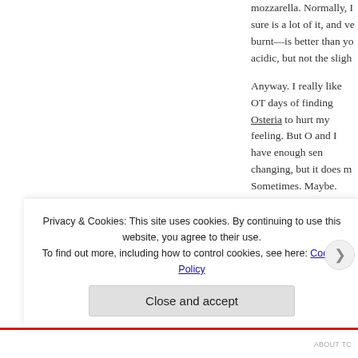mozzarella. Normally, I sure is a lot of it, and ve burnt—is better than yo acidic, but not the sligh
Anyway. I really like OT days of finding Osteria to hurt my feeling. But O and I have enough sen changing, but it does m Sometimes. Maybe.
Find OTTO at 1 5th Ave between 5th and Unive finest LoudBros. Just d or be heard by. I bring n
Privacy & Cookies: This site uses cookies. By continuing to use this website, you agree to their use. To find out more, including how to control cookies, see here: Cookie Policy
Close and accept